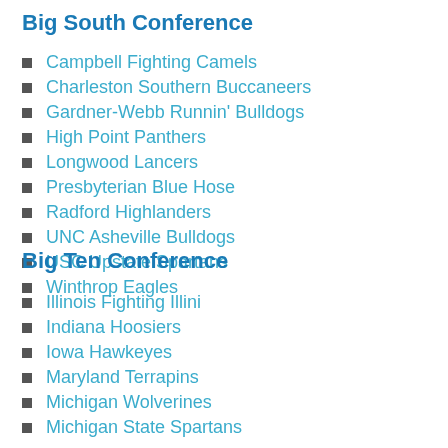Big South Conference
Campbell Fighting Camels
Charleston Southern Buccaneers
Gardner-Webb Runnin' Bulldogs
High Point Panthers
Longwood Lancers
Presbyterian Blue Hose
Radford Highlanders
UNC Asheville Bulldogs
USC Upstate Spartans
Winthrop Eagles
Big Ten Conference
Illinois Fighting Illini
Indiana Hoosiers
Iowa Hawkeyes
Maryland Terrapins
Michigan Wolverines
Michigan State Spartans